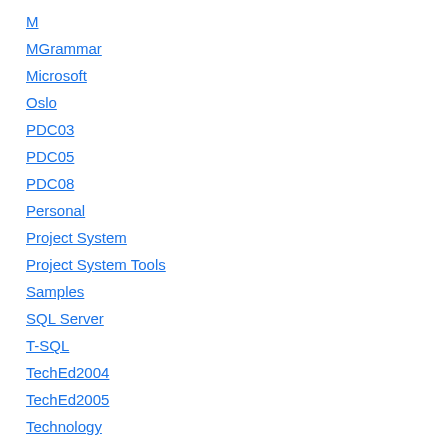M
MGrammar
Microsoft
Oslo
PDC03
PDC05
PDC08
Personal
Project System
Project System Tools
Samples
SQL Server
T-SQL
TechEd2004
TechEd2005
Technology
TypeScript
Visual Basic
Visual Basic 2005